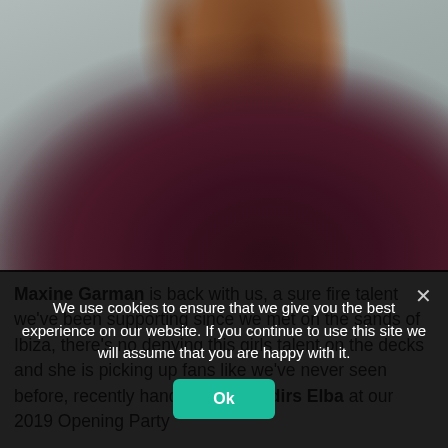[Figure (photo): Portrait photo of a woman with brown bob-length hair wearing a dark maroon/burgundy top, photographed from the side/three-quarter angle against a grey background.]
Maxine Garman is back with us, a sure fire talent we've been supporting since we met on the sands of Ibiza, there's no denying this girls talent on the decks and she is picking up fans like we've never seen before, recently handing over to Idirs Elba at our 2019 Opening Party
We use cookies to ensure that we give you the best experience on our website. If you continue to use this site we will assume that you are happy with it.